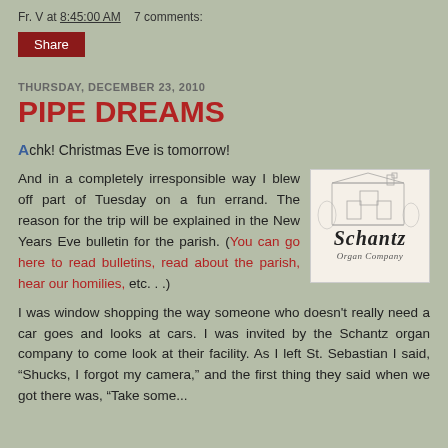Fr. V at 8:45:00 AM    7 comments:
Share
THURSDAY, DECEMBER 23, 2010
PIPE DREAMS
Achk! Christmas Eve is tomorrow!
And in a completely irresponsible way I blew off part of Tuesday on a fun errand. The reason for the trip will be explained in the New Years Eve bulletin for the parish. (You can go here to read bulletins, read about the parish, hear our homilies, etc. . .)
[Figure (logo): Schantz Organ Company logo with a black and white illustration of a building and gothic-style text reading 'Schantz Organ Company']
I was window shopping the way someone who doesn't really need a car goes and looks at cars. I was invited by the Schantz organ company to come look at their facility. As I left St. Sebastian I said, “Shucks, I forgot my camera,” and the first thing they said when we got there was, “Take some...